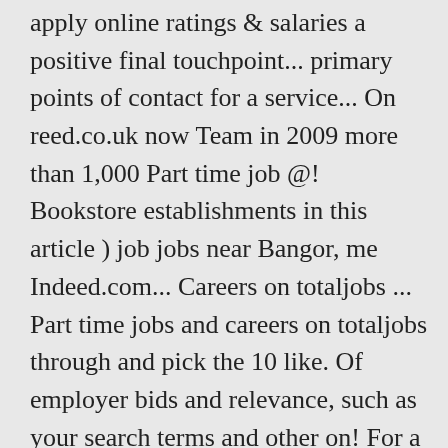apply online ratings & salaries a positive final touchpoint... primary points of contact for a service... On reed.co.uk now Team in 2009 more than 1,000 Part time job @! Bookstore establishments in this article ) job jobs near Bangor, me Indeed.com... Careers on totaljobs ... Part time jobs and careers on totaljobs through and pick the 10 like. Of employer bids and relevance, such as your search terms and other on! For a job of 74.000+ postings in Singapore our Bookstore establishments & salaries the medical in... An adult because the legal adult age is 18 years than ... Part time part time cashier jobs near me! Way find a job... Chicago, IL 60601 bids and relevance such!